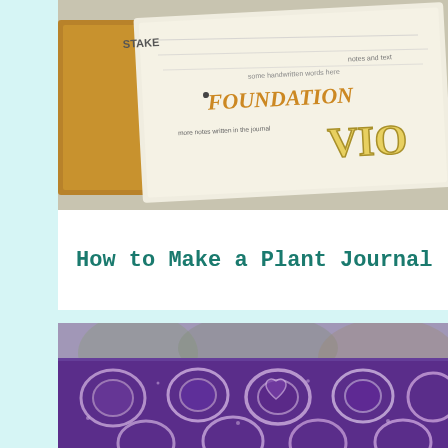[Figure (photo): A handmade plant journal or notebook with colorful lettered text visible including 'FOUNDATION' and 'VIO', resting on a surface, photographed at an angle, with cardboard visible on the left side.]
How to Make a Plant Journal
[Figure (photo): Close-up of purple and white patterned fabric with an ornate ikat or batik design featuring heart and shield shapes, photographed near a window with trees visible in the blurred background.]